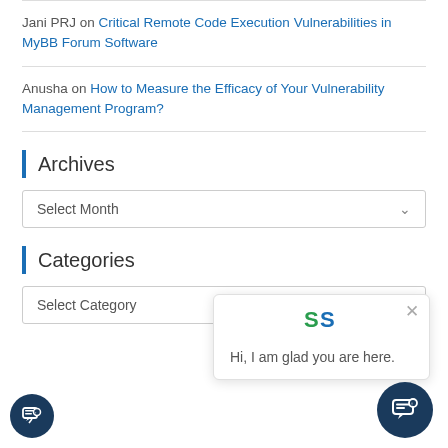Jani PRJ on Critical Remote Code Execution Vulnerabilities in MyBB Forum Software
Anusha on How to Measure the Efficacy of Your Vulnerability Management Program?
Archives
Select Month
Categories
Select Category
Hi, I am glad you are here.